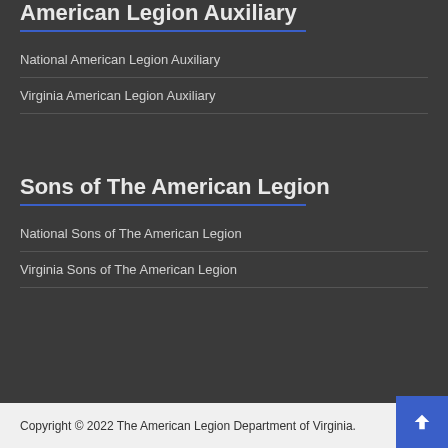American Legion Auxiliary
National American Legion Auxiliary
Virginia American Legion Auxiliary
Sons of The American Legion
National Sons of The American Legion
Virginia Sons of The American Legion
Copyright © 2022 The American Legion Department of Virginia.